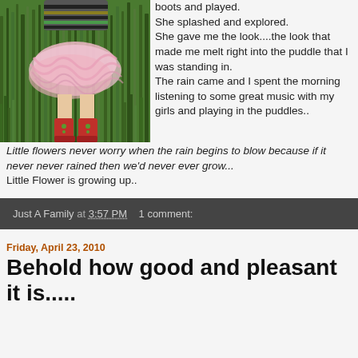[Figure (photo): Young girl in pink tutu skirt and colorful rain boots standing in tall green grass, viewed from behind/side]
boots and played. She splashed and explored.
She gave me the look....the look that made me melt right into the puddle that I was standing in.
The rain came and I spent the morning listening to some great music with my girls and playing in the puddles..
Little flowers never worry when the rain begins to blow because if it never never rained then we'd never ever grow...
Little Flower is growing up..
Just A Family at 3:57 PM   1 comment:
Friday, April 23, 2010
Behold how good and pleasant it is.....